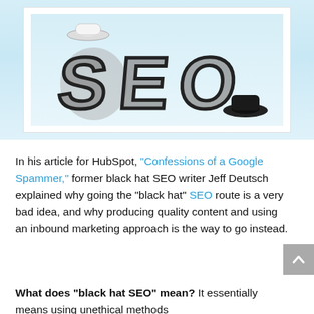[Figure (illustration): 3D cartoon letters S, E, O with white hat on S and black hat near O, gray and black colors, on white background]
In his article for HubSpot, "Confessions of a Google Spammer," former black hat SEO writer Jeff Deutsch explained why going the "black hat" SEO route is a very bad idea, and why producing quality content and using an inbound marketing approach is the way to go instead.
What does "black hat SEO" mean? It essentially means using unethical methods